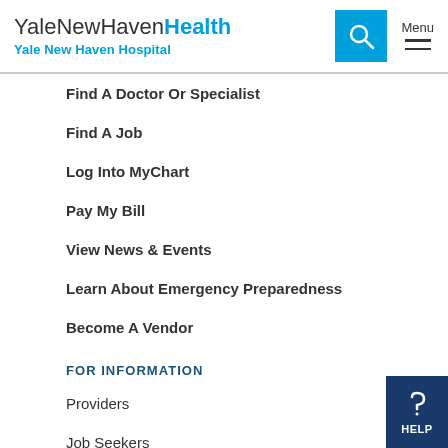YaleNewHavenHealth Yale New Haven Hospital
Find A Doctor Or Specialist
Find A Job
Log Into MyChart
Pay My Bill
View News & Events
Learn About Emergency Preparedness
Become A Vendor
FOR INFORMATION
Providers
Job Seekers
Employees